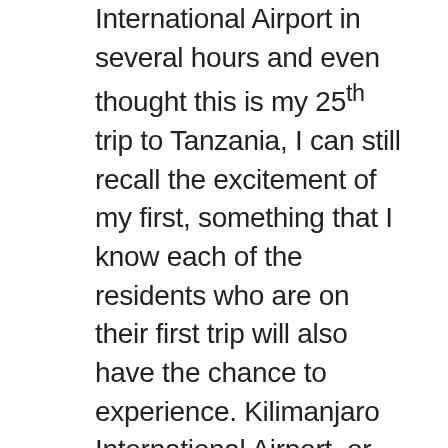International Airport in several hours and even thought this is my 25th trip to Tanzania, I can still recall the excitement of my first, something that I know each of the residents who are on their first trip will also have the chance to experience. Kilimanjaro International Airport, or KIA, is a tiny speck of an airport that caters to only two carriers arriving each day from off the continent, while a host of African carriers arrive throughout the day from such sites as Dar es Salaam, Nairobi, Johannesburg, Kigali, and such. Arriving on a widebody jet from off the continent such as we are today is a site to see as the airport suddenly becomes a sea of activity with lines forming everywhere for purchasing visas, moving through immigration and then through customs, and now, during the pandemic, having a rapid test